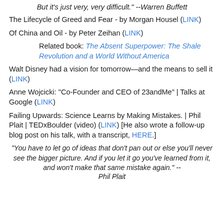But it's just very, very difficult." --Warren Buffett
The Lifecycle of Greed and Fear - by Morgan Housel (LINK)
Of China and Oil - by Peter Zeihan (LINK)
Related book: The Absent Superpower: The Shale Revolution and a World Without America
Walt Disney had a vision for tomorrow—and the means to sell it (LINK)
Anne Wojcicki: "Co-Founder and CEO of 23andMe" | Talks at Google (LINK)
Failing Upwards: Science Learns by Making Mistakes. | Phil Plait | TEDxBoulder (video) (LINK) [He also wrote a follow-up blog post on his talk, with a transcript, HERE.]
"You have to let go of ideas that don't pan out or else you'll never see the bigger picture. And if you let it go you've learned from it, and won't make that same mistake again." -- Phil Plait